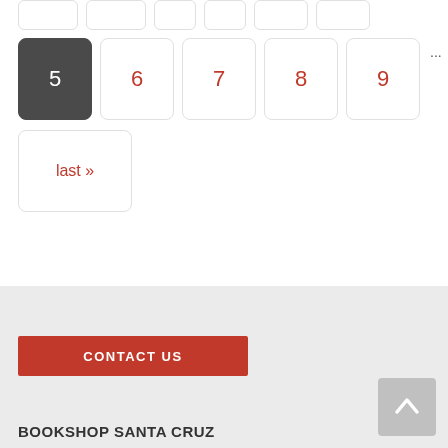5 (current page), 6, 7, 8, 9, ..., next ›, last »
CONTACT US
BOOKSHOP SANTA CRUZ